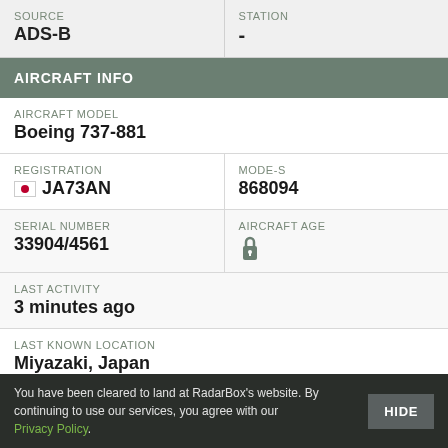| SOURCE | STATION |
| --- | --- |
| ADS-B | - |
AIRCRAFT INFO
| AIRCRAFT MODEL |
| --- |
| Boeing 737-881 |
| REGISTRATION | MODE-S |
| --- | --- |
| 🇯🇵 JA73AN | 868094 |
| SERIAL NUMBER | AIRCRAFT AGE |
| --- | --- |
| 33904/4561 | [locked] |
| LAST ACTIVITY |
| --- |
| 3 minutes ago |
| LAST KNOWN LOCATION |
| --- |
| Miyazaki, Japan |
You have been cleared to land at RadarBox's website. By continuing to use our services, you agree with our Privacy Policy.